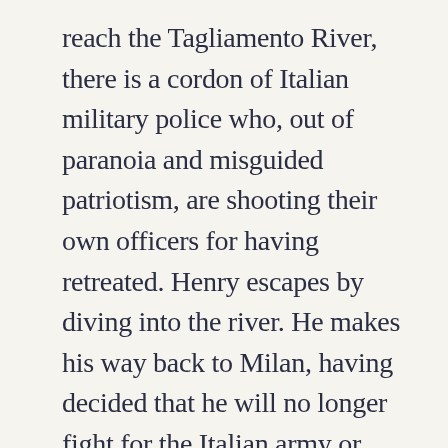reach the Tagliamento River, there is a cordon of Italian military police who, out of paranoia and misguided patriotism, are shooting their own officers for having retreated. Henry escapes by diving into the river. He makes his way back to Milan, having decided that he will no longer fight for the Italian army or participate in the war.
Henry learns that Catherine is in the Italian town of Stresa, a resort town near the Swiss border. He goes there